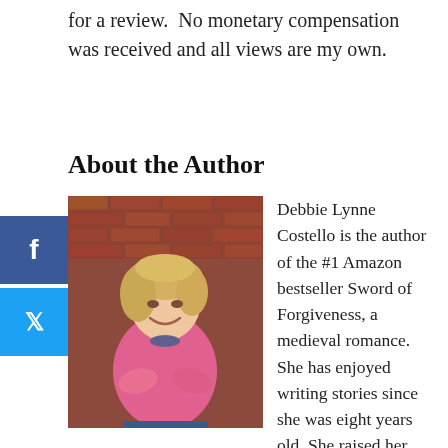for a review.  No monetary compensation was received and all views are my own.
About the Author
[Figure (photo): Author Debbie Lynne Costello, a smiling blonde woman in a pink sweater with arms crossed, posed against a brick wall background.]
Debbie Lynne Costello is the author of the #1 Amazon bestseller Sword of Forgiveness, a medieval romance. She has enjoyed writing stories since she was eight years old. She raised her